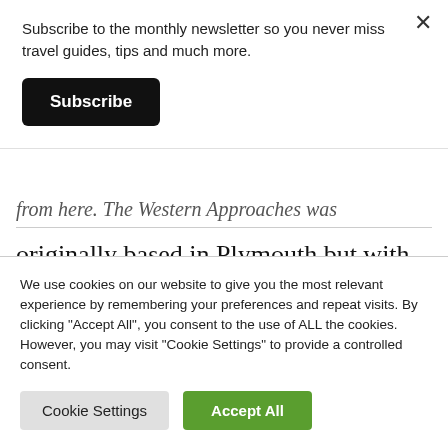Subscribe to the monthly newsletter so you never miss travel guides, tips and much more.
Subscribe
from here. The Western Approaches was originally based in Plymouth but with the fall of France and the fact that the channel
We use cookies on our website to give you the most relevant experience by remembering your preferences and repeat visits. By clicking “Accept All”, you consent to the use of ALL the cookies. However, you may visit “Cookie Settings” to provide a controlled consent.
Cookie Settings
Accept All